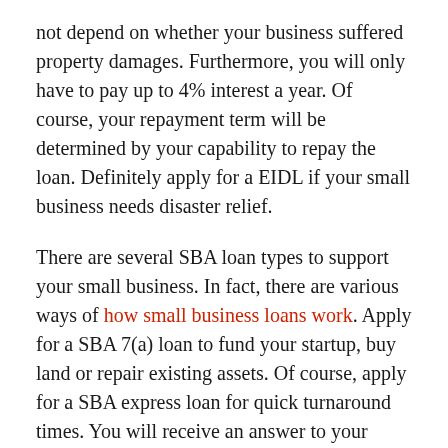not depend on whether your business suffered property damages. Furthermore, you will only have to pay up to 4% interest a year. Of course, your repayment term will be determined by your capability to repay the loan. Definitely apply for a EIDL if your small business needs disaster relief.
There are several SBA loan types to support your small business. In fact, there are various ways of how small business loans work. Apply for a SBA 7(a) loan to fund your startup, buy land or repair existing assets. Of course, apply for a SBA express loan for quick turnaround times. You will receive an answer to your application within 36 hours. Additionally, if your small business wants to purchase or build...